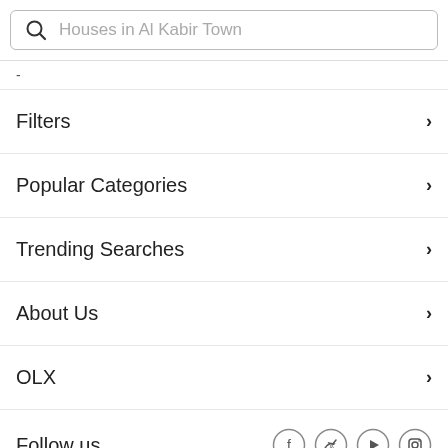[Figure (screenshot): Search bar with magnifying glass icon and placeholder text 'Houses in Al Kabir Town']
-
Filters
Popular Categories
Trending Searches
About Us
OLX
Follow us
[Figure (infographic): Social media icons: Facebook, Twitter, Play/YouTube, Instagram]
[Figure (infographic): + SELL button with teal oval border]
[Figure (infographic): App store download buttons: Apple App Store, Google Play, Huawei AppGallery]